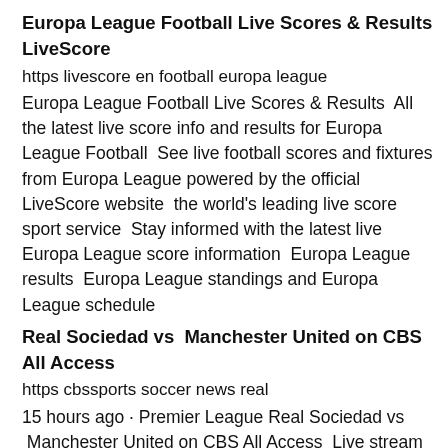Europa League Football Live Scores & Results  LiveScore
https livescore en football europa league
Europa League Football Live Scores & Results  All the latest live score info and results for Europa League Football  See live football scores and fixtures from Europa League powered by the official LiveScore website  the world's leading live score sport service  Stay informed with the latest live Europa League score information  Europa League results  Europa League standings and Europa League schedule
Real Sociedad vs  Manchester United on CBS All Access
https cbssports soccer news real
15 hours ago · Premier League Real Sociedad vs  Manchester United on CBS All Access  Live stream UEFA Europa League  how to watch on TV United face a tough test on the road against a ...